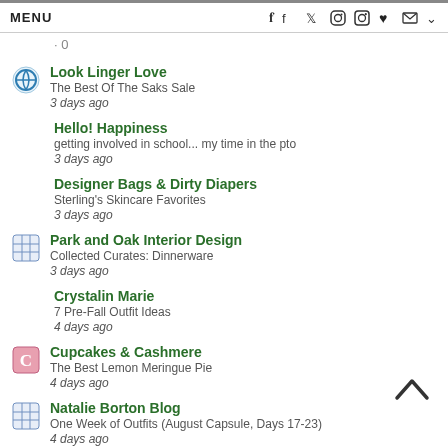MENU  f  twitter  pinterest  instagram  heart  mail  chevron
· 0
Look Linger Love
The Best Of The Saks Sale
3 days ago
Hello! Happiness
getting involved in school... my time in the pto
3 days ago
Designer Bags & Dirty Diapers
Sterling's Skincare Favorites
3 days ago
Park and Oak Interior Design
Collected Curates: Dinnerware
3 days ago
Crystalin Marie
7 Pre-Fall Outfit Ideas
4 days ago
Cupcakes & Cashmere
The Best Lemon Meringue Pie
4 days ago
Natalie Borton Blog
One Week of Outfits (August Capsule, Days 17-23)
4 days ago